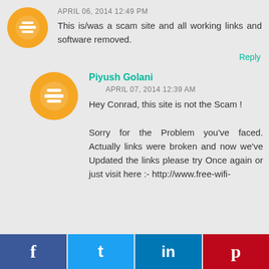APRIL 06, 2014 12:49 PM
This is/was a scam site and all working links and software removed.
Reply
Piyush Golani
APRIL 07, 2014 12:39 AM
Hey Conrad, this site is not the Scam !

Sorry for the Problem you've faced. Actually links were broken and now we've Updated the links please try Once again or just visit here :- http://www.free-wifi-
f  t  in  p